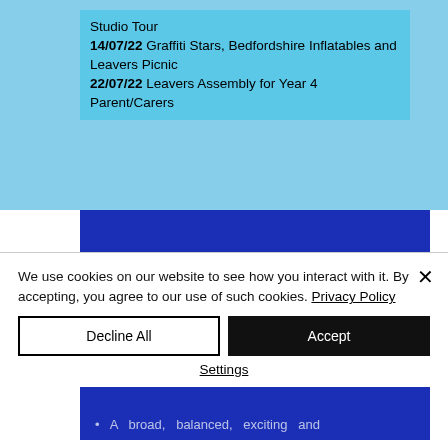Studio Tour 14/07/22 Graffiti Stars, Bedfordshire Inflatables and Leavers Picnic 22/07/22 Leavers Assembly for Year 4 Parent/Carers
Our Enriched Curriculum Offers
A broad, balanced, exciting and
We use cookies on our website to see how you interact with it. By accepting, you agree to our use of such cookies. Privacy Policy
Decline All
Accept
Settings